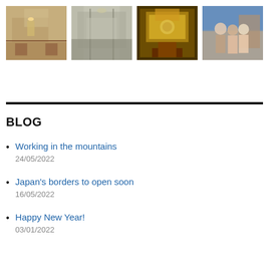[Figure (photo): Strip of four photos: Japanese room interior, hallway with glass doors, decorative Buddhist altar with gold ornaments, three people standing outdoors]
BLOG
Working in the mountains
24/05/2022
Japan's borders to open soon
16/05/2022
Happy New Year!
03/01/2022